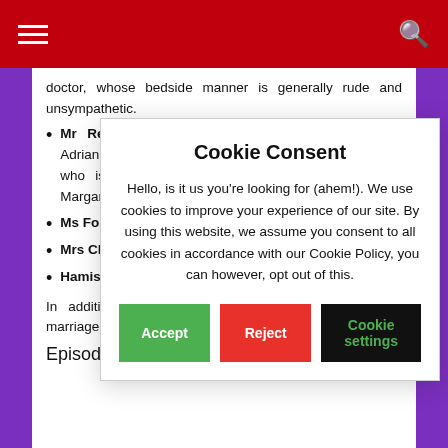☰  🔍
doctor, whose bedside manner is generally rude and unsympathetic.
Mr Reginald 'Popeye' Scruton (Freddie Jones) is Adrian and Pandora's abrasive and volatile headmaster, who is a huge admirer of the then-Prime Minister Margaret Thatcher.
Ms Fossing[t...] and Nigel's d[...]
Mrs Claricoat[...] hearted and[...]
Hamish Ma[...] teenager wh[...] holiday with[...]
In addition, Bre[...] the formidable[...] Home, in whic[...] their marriage.
Episodes
[Figure (screenshot): Cookie Consent dialog overlay with title 'Cookie Consent', body text about cookie policy, and three buttons: Accept (green), Reject (red), Cookie settings (black with green text).]